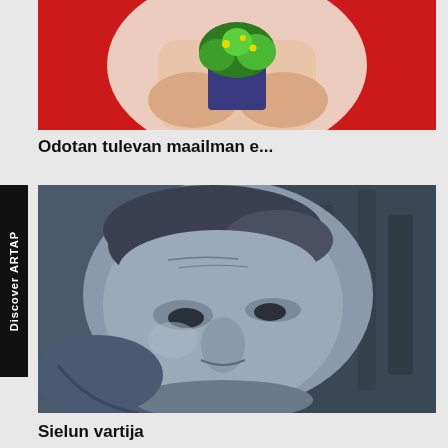[Figure (photo): Partial view of a person holding a small potted plant with green foliage against a red background]
Odotan tulevan maailman e...
[Figure (photo): Grayscale painting or drawing of a man's face in close-up, appearing sculptural or painted, with dark blue-grey tones and textured background]
Sielun vartija